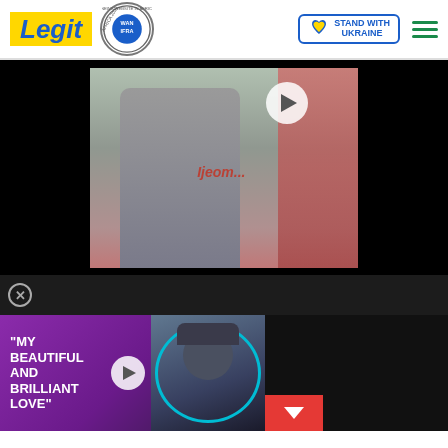Legit — Best News Website in Africa 2021 (WAN-IFRA) — Stand With Ukraine
[Figure (screenshot): Video thumbnail showing a person in a grey covering standing near colourful fabric, with a play button overlay and 'Ijeom...' text visible]
[Figure (screenshot): Promotional video snippet with purple/magenta background, text reading "MY BEAUTIFUL AND BRILLIANT LOVE", play button, and a man wearing a cap with a teal circle outline around him]
Help Protect Ukrainian Families
DONATE NOW